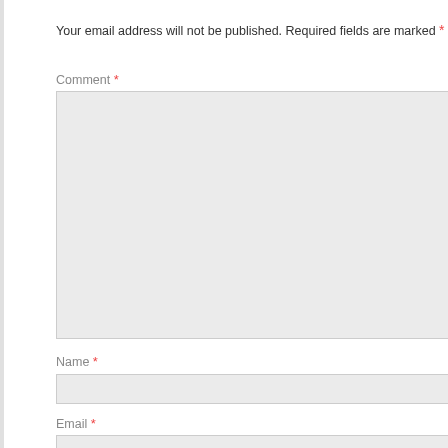Your email address will not be published. Required fields are marked *
Comment *
[Figure (screenshot): Large comment textarea input field with light gray background]
Name *
[Figure (screenshot): Name text input field with light gray background]
Email *
[Figure (screenshot): Email text input field with light gray background]
Website
[Figure (screenshot): Website text input field with light gray background]
Post Comment